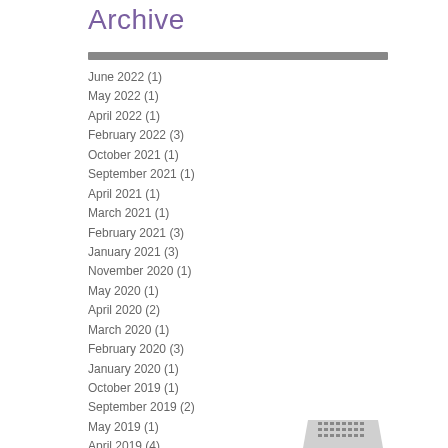Archive
June 2022 (1)
May 2022 (1)
April 2022 (1)
February 2022 (3)
October 2021 (1)
September 2021 (1)
April 2021 (1)
March 2021 (1)
February 2021 (3)
January 2021 (3)
November 2020 (1)
May 2020 (1)
April 2020 (2)
March 2020 (1)
February 2020 (3)
January 2020 (1)
October 2019 (1)
September 2019 (2)
May 2019 (1)
April 2019 (4)
March 2019 (1)
February 2019 (2)
December 2018 (1)
October 2018 (2)